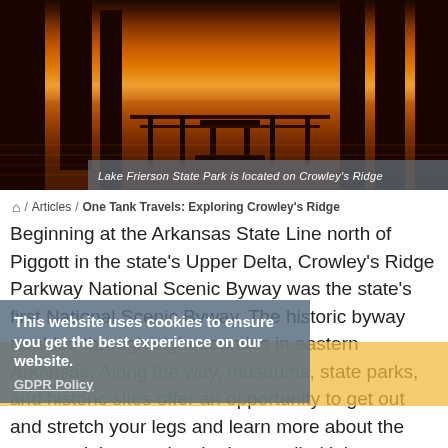[Figure (photo): Sunset photo of Lake Frierson State Park showing silhouetted trees and dock/pier structure against orange and red sky reflected on water]
Lake Frierson State Park is located on Crowley's Ridge
⌂ / Articles / One Tank Travels: Exploring Crowley's Ridge
Beginning at the Arkansas State Line north of Piggott in the state's Upper Delta, Crowley's Ridge Parkway National Scenic Byway was the state's first National Scenic Byway. The historic byway rambles through eight counties in eastern Arkansas. Along the way, museums, state parks, and historic sites offer an opportunity to get out and stretch your legs and learn more about the state and the people who have called it home.
This website uses cookies to ensure you get the best experience on our website.
GDPR Policy